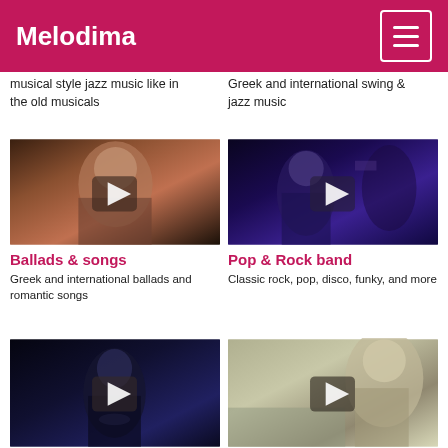Melodima
musical style jazz music like in the old musicals
Greek and international swing & jazz music
[Figure (photo): Female singer with red hair posing with arms behind head, dark background]
Ballads & songs
Greek and international ballads and romantic songs
[Figure (photo): Rock band guitarist on stage with blue lighting]
Pop & Rock band
Classic rock, pop, disco, funky, and more
[Figure (photo): Female singer on stage with dark moody lighting]
[Figure (photo): Male singer outdoors in natural light]